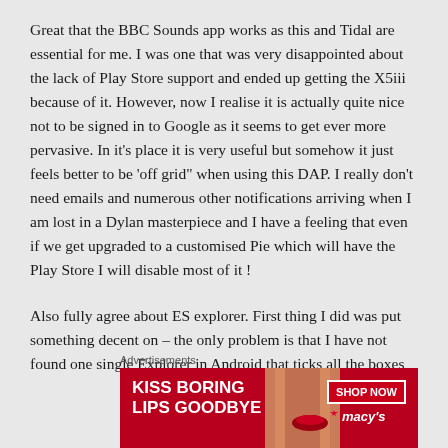Great that the BBC Sounds app works as this and Tidal are essential for me. I was one that was very disappointed about the lack of Play Store support and ended up getting the X5iii because of it. However, now I realise it is actually quite nice not to be signed in to Google as it seems to get ever more pervasive. In it's place it is very useful but somehow it just feels better to be 'off grid" when using this DAP. I really don't need emails and numerous other notifications arriving when I am lost in a Dylan masterpiece and I have a feeling that even if we get upgraded to a customised Pie which will have the Play Store I will disable most of it !
Also fully agree about ES explorer. First thing I did was put something decent on – the only problem is that I have not found one single Explorer in Android that ticks all the boxes
Advertisements
[Figure (photo): Macy's advertisement banner: 'KISS BORING LIPS GOODBYE' with a woman's face featuring red lips, and a 'SHOP NOW' button with Macy's logo]